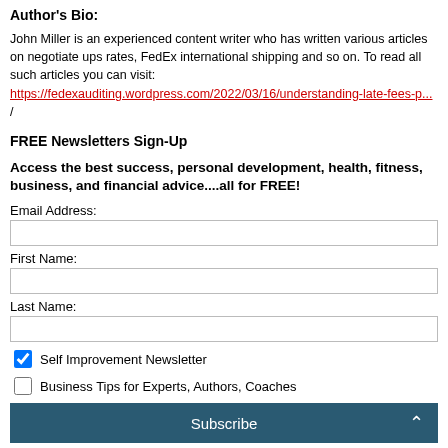Author's Bio:
John Miller is an experienced content writer who has written various articles on negotiate ups rates, FedEx international shipping and so on. To read all such articles you can visit: https://fedexauditing.wordpress.com/2022/03/16/understanding-late-fees-p... /
FREE Newsletters Sign-Up
Access the best success, personal development, health, fitness, business, and financial advice....all for FREE!
Email Address:
First Name:
Last Name:
Self Improvement Newsletter
Business Tips for Experts, Authors, Coaches
Subscribe